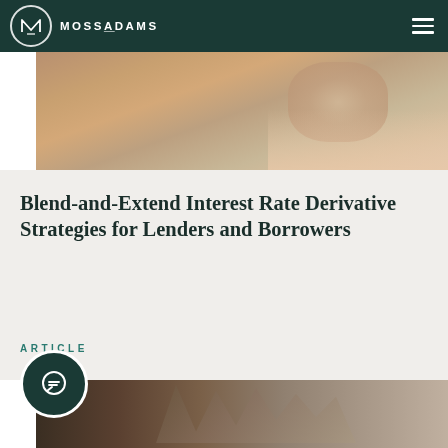MOSSADAMS
[Figure (photo): Close-up photo of a hand holding a ceramic/clay pot, warm earthy tones]
Blend-and-Extend Interest Rate Derivative Strategies for Lenders and Borrowers
ARTICLE
[Figure (photo): Photo of dried plant branches/fern leaves against a light background, dark bronze/brown tones with a chat icon overlay]